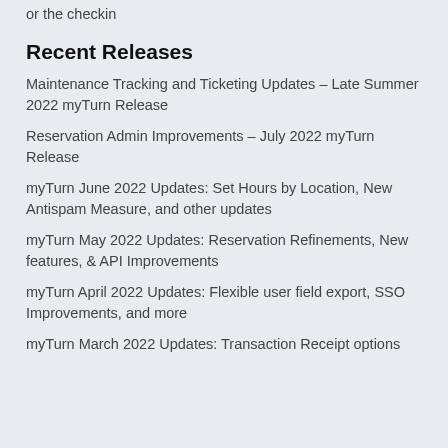or the checkin
Recent Releases
Maintenance Tracking and Ticketing Updates – Late Summer 2022 myTurn Release
Reservation Admin Improvements – July 2022 myTurn Release
myTurn June 2022 Updates: Set Hours by Location, New Antispam Measure, and other updates
myTurn May 2022 Updates: Reservation Refinements, New features, & API Improvements
myTurn April 2022 Updates: Flexible user field export, SSO Improvements, and more
myTurn March 2022 Updates: Transaction Receipt options